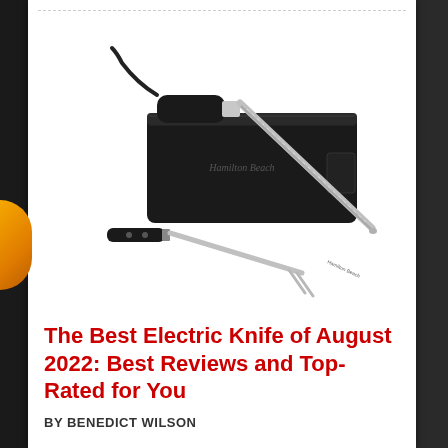[Figure (photo): Hamilton Beach electric knife set with black carrying case, electric knife with handle, carving fork, and a separate knife displayed on white background]
The Best Electric Knife of August 2022: Best Reviews and Top-Rated for You
BY BENEDICT WILSON